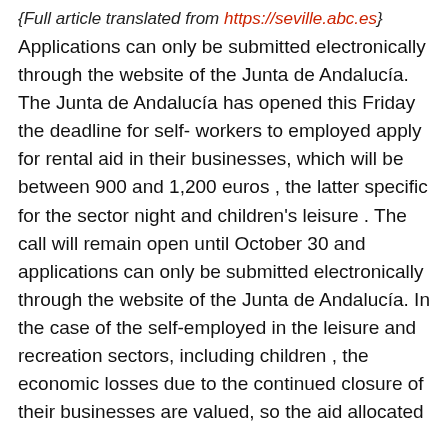{Full article translated from https://seville.abc.es}
Applications can only be submitted electronically through the website of the Junta de Andalucía. The Junta de Andalucía has opened this Friday the deadline for self- workers to employed apply for rental aid in their businesses, which will be between 900 and 1,200 euros , the latter specific for the sector night and children's leisure . The call will remain open until October 30 and applications can only be submitted electronically through the website of the Junta de Andalucía. In the case of the self-employed in the leisure and recreation sectors, including children , the economic losses due to the continued closure of their businesses are valued, so the aid allocated